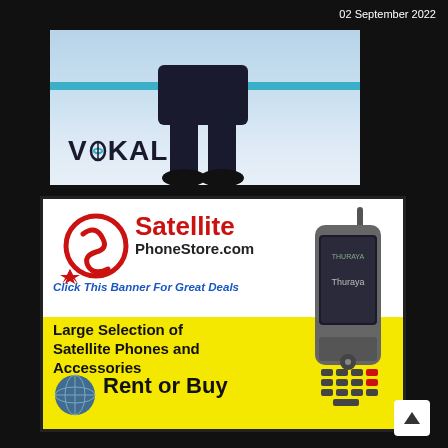02 September 2022
[Figure (illustration): VOKAL brand advertisement showing person's legs in black clothing and shoes, with a light blue background and a teal horizontal stripe. VOKAL logo in bottom left.]
[Figure (illustration): Satellite PhoneStore.com advertisement banner. Top white section shows red circular logo with S motif and red star, brand name 'Satellite PhoneStore.com', and tagline 'Click This Banner For Great Deals'. Bottom yellow section shows 'Large Selection of Satellite Phones and Accessories' and 'Rent or Buy' with a globe icon. A satellite phone image appears on the right side.]